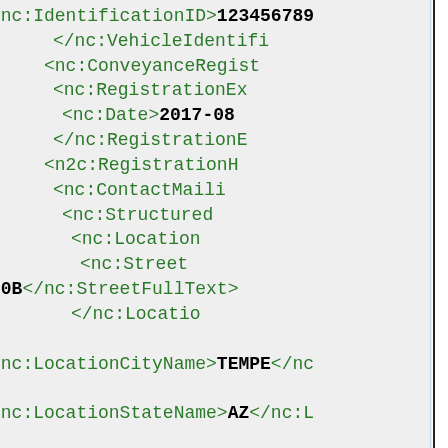XML code snippet showing vehicle registration and location data with elements: nc:IdentificationID>123456789, /nc:VehicleIdentifi..., nc:ConveyanceRegist..., nc:RegistrationEx..., nc:Date>2017-08..., /nc:RegistrationE..., n2c:RegistrationH..., nc:ContactMaili..., nc:StructuredA..., nc:Location..., nc:Street..., 20B</nc:StreetFullText>, /nc:Locatio..., nc:LocationCityName>TEMPE</nc..., nc:LocationStateName>AZ</nc:L..., nc:LocationPostalCode>8528270..., /nc:Structure..., /nc:ContactMail..., n2c:Person>, nc:PersonName...